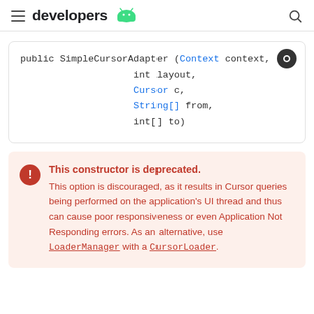developers
[Figure (screenshot): Code block showing: public SimpleCursorAdapter (Context context, int layout, Cursor c, String[] from, int[] to)]
This constructor is deprecated. This option is discouraged, as it results in Cursor queries being performed on the application's UI thread and thus can cause poor responsiveness or even Application Not Responding errors. As an alternative, use LoaderManager with a CursorLoader.